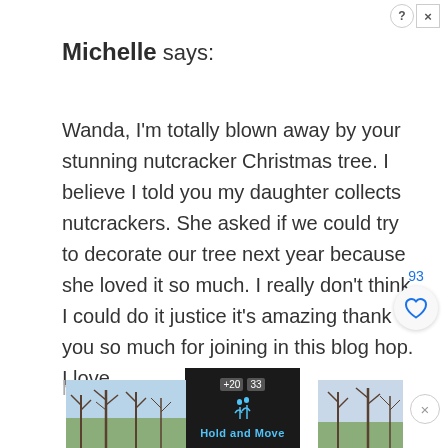Michelle says:
Wanda, I'm totally blown away by your stunning nutcracker Christmas tree. I believe I told you my daughter collects nutcrackers. She asked if we could try to decorate our tree next year because she loved it so much. I really don't think I could do it justice it's amazing thank you so much for joining in this blog hop. I love
[Figure (screenshot): Advertisement banner at bottom with 'Hold and Move' app, landscape photos on left and right, close/dismiss controls, and partial cut-off text 'hav' and 'ays']